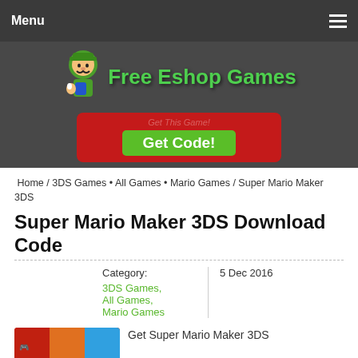Menu
[Figure (logo): Free Eshop Games logo with Luigi character and green stylized text]
[Figure (infographic): Red CTA banner with 'Get This Game!' label and green 'Get Code!' button]
Home / 3DS Games • All Games • Mario Games / Super Mario Maker 3DS
Super Mario Maker 3DS Download Code
Category: 3DS Games, All Games, Mario Games | 5 Dec 2016
Get Super Mario Maker 3DS